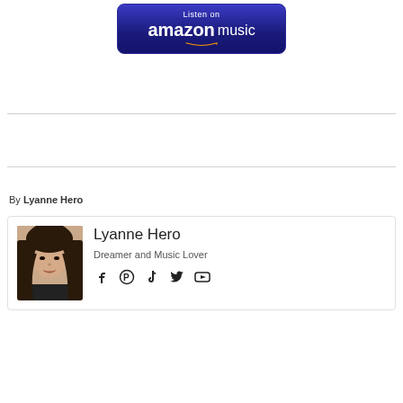[Figure (logo): Amazon Music 'Listen on' button with blue/purple gradient background, white text 'Listen on amazon music' with Amazon smile logo]
By Lyanne Hero
[Figure (photo): Author profile card showing photo of a young woman with long dark hair, name 'Lyanne Hero', tagline 'Dreamer and Music Lover', and social media icons (Facebook, Pinterest, TikTok, Twitter, YouTube)]